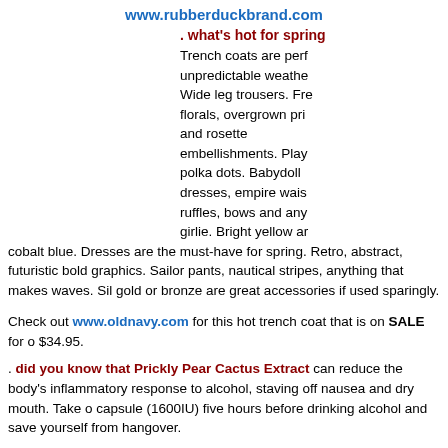www.rubberduckbrand.com
. what's hot for spring
Trench coats are perfect for unpredictable weather. Wide leg trousers. French florals, overgrown prints and rosette embellishments. Playful polka dots. Babydoll dresses, empire waist ruffles, bows and anything girlie. Bright yellow and cobalt blue. Dresses are the must-have for spring. Retro, abstract, futuristic bold graphics. Sailor pants, nautical stripes, anything that makes waves. Silver, gold or bronze are great accessories if used sparingly.
Check out www.oldnavy.com for this hot trench coat that is on SALE for only $34.95.
. did you know that Prickly Pear Cactus Extract
can reduce the body's inflammatory response to alcohol, staving off nausea and dry mouth. Take one capsule (1600IU) five hours before drinking alcohol and save yourself from a hangover.